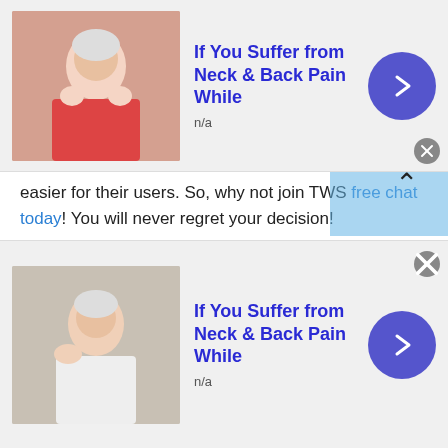[Figure (other): Top advertisement banner: 'If You Suffer from Neck & Back Pain While', n/a, with image of elderly woman touching neck, blue circular arrow button]
easier for their users. So, why not join TWS free chat today! You will never regret your decision!
Girls chat room
Do you love talking to girls online? Or looking for a great companionship? If it's so then at the Talkwithstranger app you can talk to strangers in Greece and find your best match or true companion. Well, TWS girls chat room is not only restricted to
[Figure (other): Bottom advertisement banner: 'If You Suffer from Neck & Back Pain While', n/a, with image of person holding shoulder, blue circular arrow button]